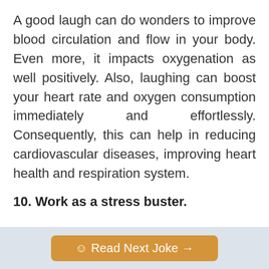A good laugh can do wonders to improve blood circulation and flow in your body. Even more, it impacts oxygenation as well positively. Also, laughing can boost your heart rate and oxygen consumption immediately and effortlessly. Consequently, this can help in reducing cardiovascular diseases, improving heart health and respiration system.
10. Work as a stress buster.
☺ Read Next Joke →